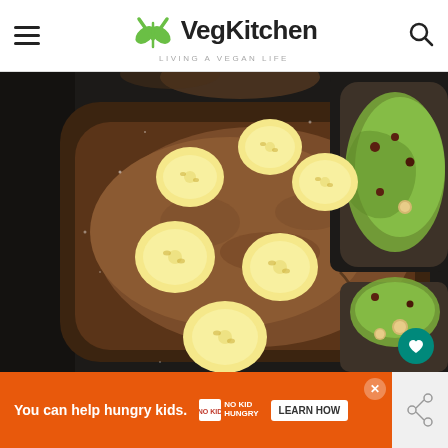VegKitchen — LIVING A VEGAN LIFE
[Figure (photo): Close-up food photo showing a slice of toast topped with almond/peanut butter and banana slices, with another toast topped with avocado and macadamia nuts visible at the right edge. Dark background.]
You can help hungry kids. | NO KID HUNGRY | LEARN HOW